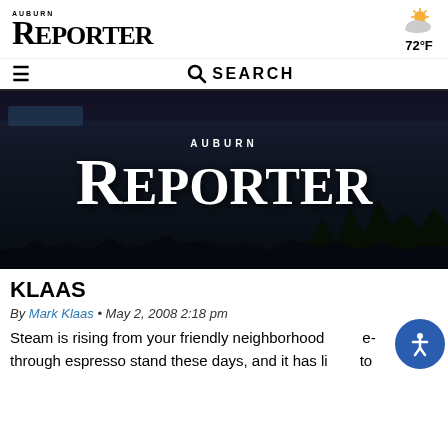AUBURN REPORTER — 72°F
[Figure (screenshot): Auburn Reporter newspaper website header with logo, weather (72°F), hamburger menu, and search bar]
[Figure (photo): Aerial night/dusk photo of Auburn city with the Auburn Reporter logo overlaid in white text]
KLAAS
By Mark Klaas • May 2, 2008 2:18 pm
Steam is rising from your friendly neighborhood drive-through espresso stand these days, and it has little to do with your morning café